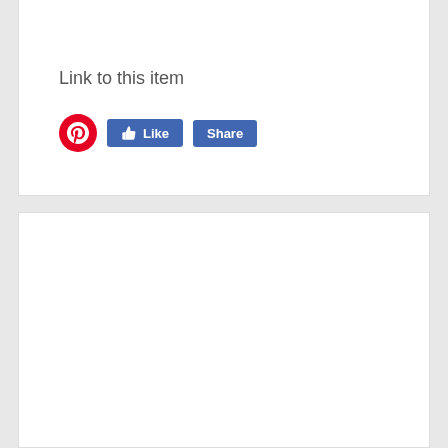Link to this item
[Figure (screenshot): Social sharing buttons: Pinterest circular red button, Facebook Like button (blue), Facebook Share button (blue)]
Similar antiques ... view more
A VICTORIAN WALNUT WRITING TABLE / ...  £2,200
19TH CENTURY WILLIAM IV MAHOGANY RO ...  £2,750
REGENCY MAHOGANY WORK TABLE  £1,480